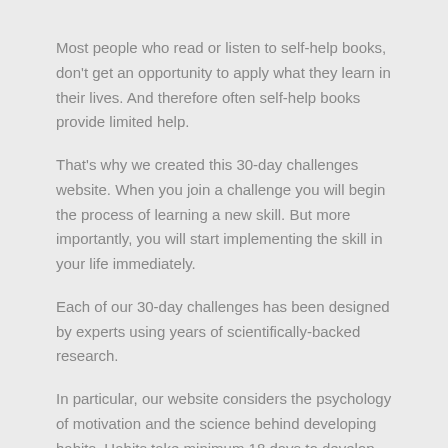Most people who read or listen to self-help books, don't get an opportunity to apply what they learn in their lives. And therefore often self-help books provide limited help.
That's why we created this 30-day challenges website. When you join a challenge you will begin the process of learning a new skill. But more importantly, you will start implementing the skill in your life immediately.
Each of our 30-day challenges has been designed by experts using years of scientifically-backed research.
In particular, our website considers the psychology of motivation and the science behind developing habits. Habits take minimum 18 days to develop – we provide you with daily activities and exercises for 30 days.